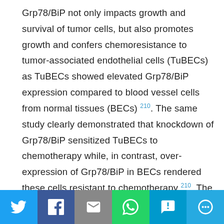Grp78/BiP not only impacts growth and survival of tumor cells, but also promotes growth and confers chemoresistance to tumor-associated endothelial cells (TuBECs) as TuBECs showed elevated Grp78/BiP expression compared to blood vessel cells from normal tissues (BECs) 210. The same study clearly demonstrated that knockdown of Grp78/BiP sensitized TuBECs to chemotherapy while, in contrast, over-expression of Grp78/BiP in BECs rendered these cells resistant to chemotherapy 210. The group of Michael Steurer recently described the ability of various solid tumor cells to secrete Grp78/BiP into the tumor microenvironment and the capacity of recombinant Grp78/BiP to confer chemoresistance to endothelial cells 211, indicative for implications of the
[Figure (infographic): Social media sharing bar with Twitter, Facebook, Email, WhatsApp, SMS, and More buttons]